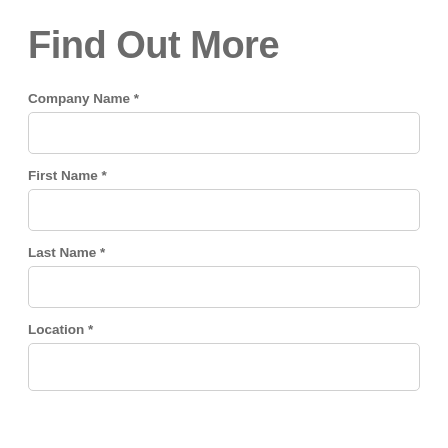Find Out More
Company Name *
First Name *
Last Name *
Location *